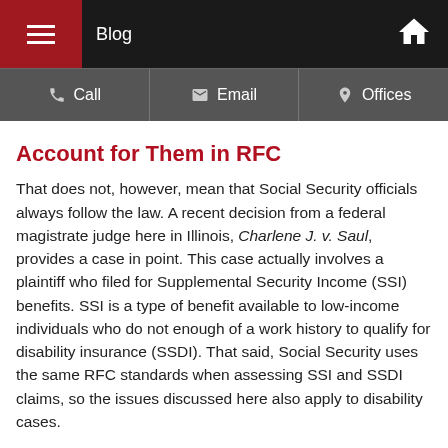Blog
Account for Them in RFC
That does not, however, mean that Social Security officials always follow the law. A recent decision from a federal magistrate judge here in Illinois, Charlene J. v. Saul, provides a case in point. This case actually involves a plaintiff who filed for Supplemental Security Income (SSI) benefits. SSI is a type of benefit available to low-income individuals who do not enough of a work history to qualify for disability insurance (SSDI). That said, Social Security uses the same RFC standards when assessing SSI and SSDI claims, so the issues discussed here also apply to disability cases.
Here, a Social Security administrative law judge (ALJ) determined the plaintiff suffered from a number of impairments, including the loss of vision in one eye, type-2 diabetes, and chronic headaches. The ALJ